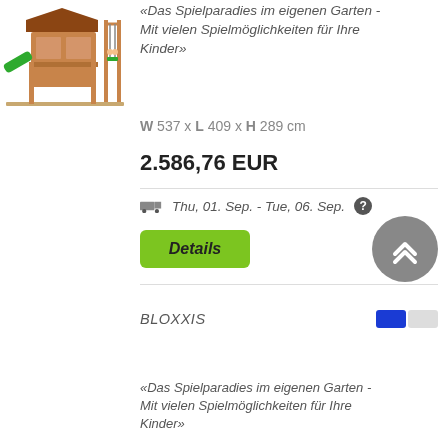[Figure (photo): Wooden children playground set with green slide and swings]
«Das Spielparadies im eigenen Garten - Mit vielen Spielmöglichkeiten für Ihre Kinder»
W 537 x L 409 x H 289 cm
2.586,76 EUR
Thu, 01. Sep. - Tue, 06. Sep. ?
[Figure (other): Details button (green)]
[Figure (other): Scroll to top button (grey circle with up arrows)]
BLOXXIS
«Das Spielparadies im eigenen Garten - Mit vielen Spielmöglichkeiten für Ihre Kinder»